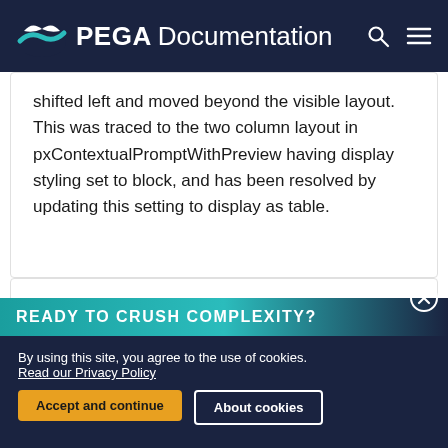PEGA Documentation
shifted left and moved beyond the visible layout. This was traced to the two column layout in pxContextualPromptWithPreview having display styling set to block, and has been resolved by updating this setting to display as table.
READY TO CRUSH COMPLEXITY?
By using this site, you agree to the use of cookies. Read our Privacy Policy
Accept and continue
About cookies